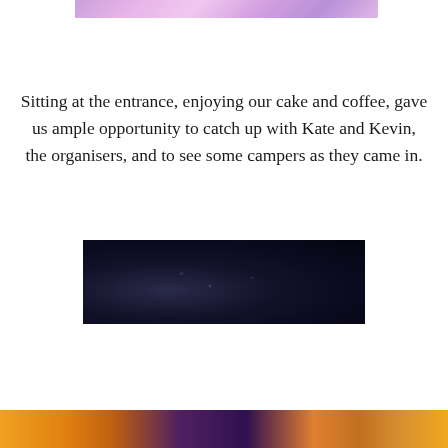[Figure (photo): Partial top of a colorful photo with purple and pink tones, cropped at top of page]
Sitting at the entrance, enjoying our cake and coffee, gave us ample opportunity to catch up with Kate and Kevin, the organisers, and to see some campers as they came in.
[Figure (photo): Dark, nearly black photograph, possibly taken at night or in low light conditions with slight speckled texture]
Privacy & Cookies: This site uses cookies. By continuing to use this website, you agree to their use.
To find out more, including how to control cookies, see here: Cookie Policy
[Figure (photo): Partial bottom strip showing colorful orange, purple and gold tones, cropped at bottom of page]